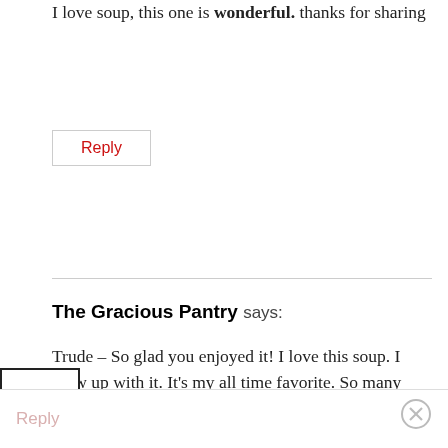I love soup, this one is wonderful. thanks for sharing
Reply
The Gracious Pantry says:
Trude – So glad you enjoyed it! I love this soup. I grew up with it. It's my all time favorite. So many memories wrapped up on one bowl of soup....
Reply